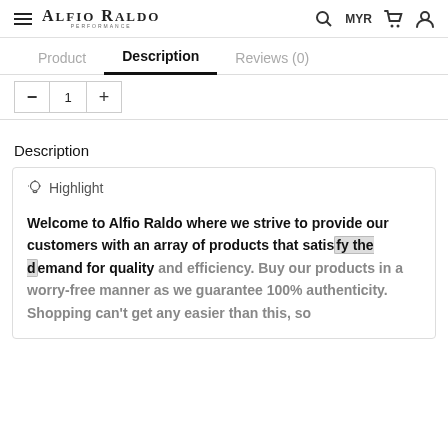Alfio Raldo — MYR
Product | Description | Reviews (0)
— 1 +
Description
✦ Highlight
Welcome to Alfio Raldo where we strive to provide our customers with an array of products that satisfy the demand for quality and efficiency. Buy our products in a worry-free manner as we guarantee 100% authenticity. Shopping can't get any easier than this, so